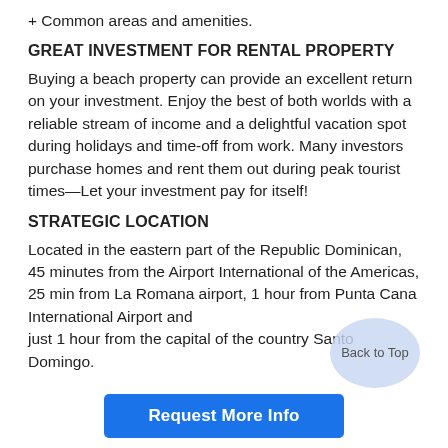+ Common areas and amenities.
GREAT INVESTMENT FOR RENTAL PROPERTY
Buying a beach property can provide an excellent return on your investment. Enjoy the best of both worlds with a reliable stream of income and a delightful vacation spot during holidays and time-off from work. Many investors purchase homes and rent them out during peak tourist times—Let your investment pay for itself!
STRATEGIC LOCATION
Located in the eastern part of the Republic Dominican, 45 minutes from the Airport International of the Americas, 25 min from La Romana airport, 1 hour from Punta Cana International Airport and just 1 hour from the capital of the country Santo Domingo.
Back to Top
Request More Info